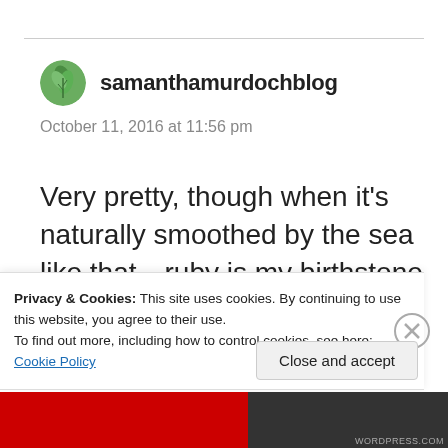[Figure (illustration): Circular avatar with green leaf/plant illustration]
samanthamurdochblog
October 11, 2016 at 11:56 pm
Very pretty, though when it’s naturally smoothed by the sea like that…ruby is my birthstone
Privacy & Cookies: This site uses cookies. By continuing to use this website, you agree to their use.
To find out more, including how to control cookies, see here: Cookie Policy
Close and accept